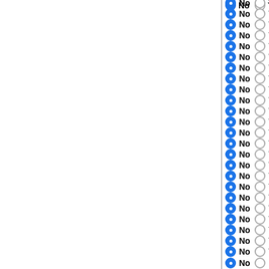No / Yes — Escherichia coli SMS-3-5
No / Yes — Escherichia coli SE15
No / Yes — Escherichia coli SE11
No / Yes — Escherichia coli APEC O1
No / Yes — Escherichia coli O103:H2 str
No / Yes — Escherichia coli UTI89
No / Yes — Escherichia coli 536
No / Yes — Escherichia coli HS
No / Yes — Escherichia coli ETEC H104
No / Yes — Escherichia coli O55:H7 str.
No / Yes — Escherichia coli O55:H7 str.
No / Yes — Escherichia coli O26:H11 str
No / Yes — Escherichia coli CFT073
No / Yes — Escherichia coli O111:H- str.
No / Yes — Escherichia coli O127:H6 str
No / Yes — Escherichia coli O157:H7 str
No / Yes — Escherichia coli O157:H7 str
No / Yes — Escherichia coli O157:H7 str
No / Yes — Escherichia coli O157:H7 str
No / Yes — Escherichia coli str. K-12 sub
No / Yes — Escherichia coli BW2952
No / Yes — Escherichia coli str. K-12 sub
No / Yes — Escherichia coli str. K-12 sub